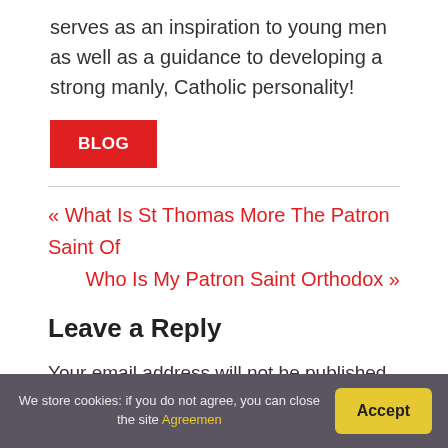serves as an inspiration to young men as well as a guidance to developing a strong manly, Catholic personality!
BLOG
« What Is St Thomas More The Patron Saint Of
Who Is My Patron Saint Orthodox »
Leave a Reply
Your email address will not be published. Required fields are marked *
We store cookies: if you do not agree, you can close the site Agreemen
Accept